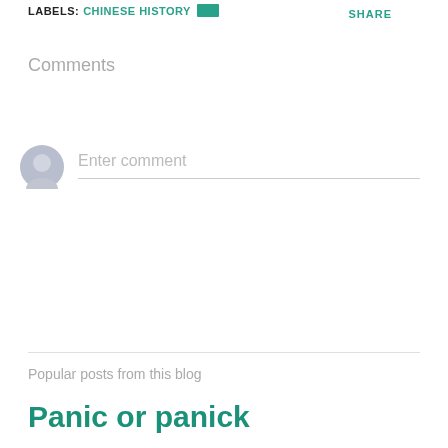LABELS: CHINESE HISTORY   SHARE
Comments
Enter comment
Popular posts from this blog
Panic or panick